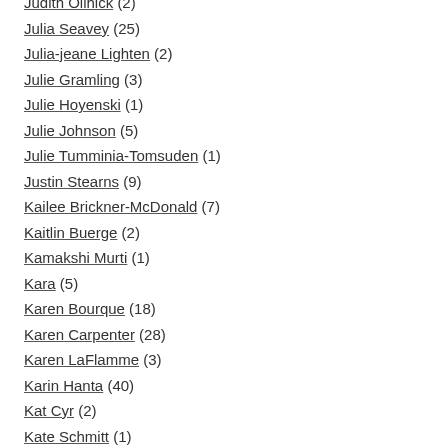Judith Ollhick (2)
Julia Seavey (25)
Julia-jeane Lighten (2)
Julie Gramling (3)
Julie Hoyenski (1)
Julie Johnson (5)
Julie Tumminia-Tomsuden (1)
Justin Stearns (9)
Kailee Brickner-McDonald (7)
Kaitlin Buerge (2)
Kamakshi Murti (1)
Kara (5)
Karen Bourque (18)
Karen Carpenter (28)
Karen LaFlamme (3)
Karin Hanta (40)
Kat Cyr (2)
Kate Schmitt (1)
Kathy Foley (5)